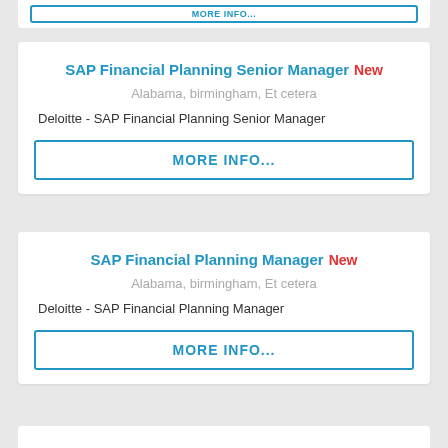SAP Financial Planning Senior Manager New
Alabama, birmingham, Et cetera
Deloitte - SAP Financial Planning Senior Manager
MORE INFO...
SAP Financial Planning Manager New
Alabama, birmingham, Et cetera
Deloitte - SAP Financial Planning Manager
MORE INFO...